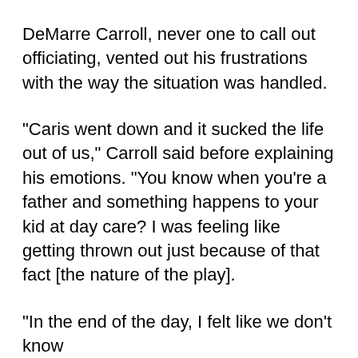DeMarre Carroll, never one to call out officiating, vented out his frustrations with the way the situation was handled.
“Caris went down and it sucked the life out of us,” Carroll said before explaining his emotions. “You know when you’re a father and something happens to your kid at day care? I was feeling like getting thrown out just because of that fact [the nature of the play].
“In the end of the day, I felt like we don’t know